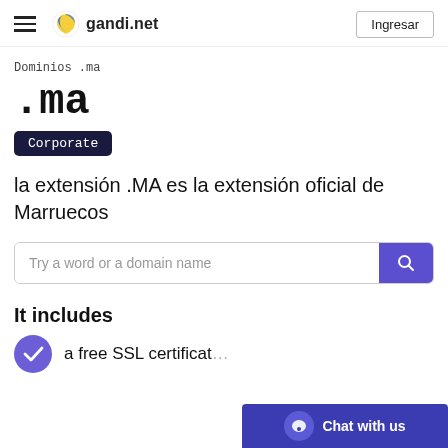gandi.net  Ingresar
Dominios .ma
.ma
Corporate
la extensión .MA es la extensión oficial de Marruecos
Try a word or a domain name
It includes
a free SSL certificat...
Chat with us